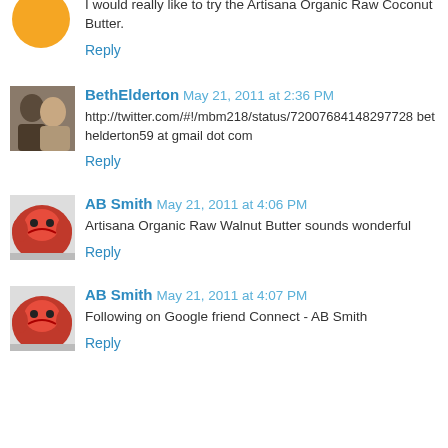I would really like to try the Artisana Organic Raw Coconut Butter.
Reply
BethElderton May 21, 2011 at 2:36 PM
http://twitter.com/#!/mbm218/status/72007684148297728 bethelderton59 at gmail dot com
Reply
AB Smith May 21, 2011 at 4:06 PM
Artisana Organic Raw Walnut Butter sounds wonderful
Reply
AB Smith May 21, 2011 at 4:07 PM
Following on Google friend Connect - AB Smith
Reply